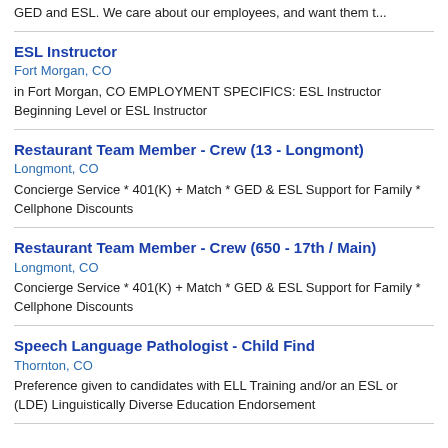GED and ESL. We care about our employees, and want them t...
ESL Instructor
Fort Morgan, CO
in Fort Morgan, CO EMPLOYMENT SPECIFICS: ESL Instructor Beginning Level or ESL Instructor
Restaurant Team Member - Crew (13 - Longmont)
Longmont, CO
Concierge Service * 401(K) + Match * GED & ESL Support for Family * Cellphone Discounts
Restaurant Team Member - Crew (650 - 17th / Main)
Longmont, CO
Concierge Service * 401(K) + Match * GED & ESL Support for Family * Cellphone Discounts
Speech Language Pathologist - Child Find
Thornton, CO
Preference given to candidates with ELL Training and/or an ESL or (LDE) Linguistically Diverse Education Endorsement